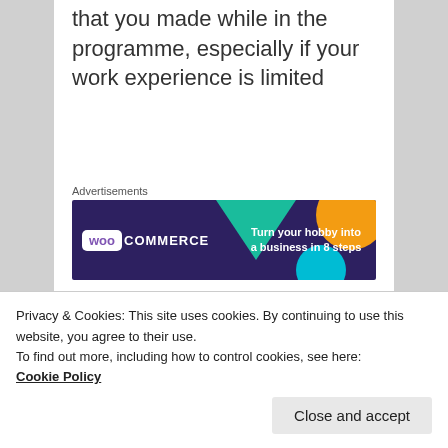that you made while in the programme, especially if your work experience is limited
Advertisements
[Figure (illustration): WooCommerce advertisement banner: dark purple background with geometric shapes (green triangle, orange circle, teal circle). Logo on left reads 'woo COMMERCE'. Text on right reads 'Turn your hobby into a business in 8 steps'.]
There is some debate about
or your educational experience
Privacy & Cookies: This site uses cookies. By continuing to use this website, you agree to their use.
To find out more, including how to control cookies, see here:
Cookie Policy
Close and accept